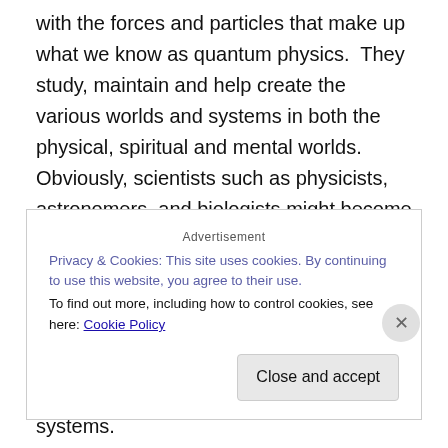with the forces and particles that make up what we know as quantum physics.  They study, maintain and help create the various worlds and systems in both the physical, spiritual and mental worlds.  Obviously, scientists such as physicists, astronomers, and biologists might become designers, as well as geologists and meteorologists.  Architecture is also analogous to this type of work, and designer souls are always in demand to maintain the structure of the spirit world, recreation areas and new planetary systems.
Privacy & Cookies: This site uses cookies. By continuing to use this website, you agree to their use.
To find out more, including how to control cookies, see here: Cookie Policy
Close and accept